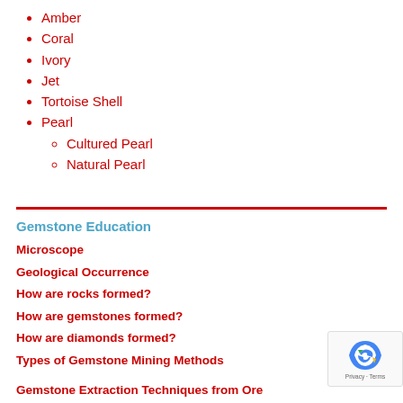Amber
Coral
Ivory
Jet
Tortoise Shell
Pearl
Cultured Pearl
Natural Pearl
Gemstone Education
Microscope
Geological Occurrence
How are rocks formed?
How are gemstones formed?
How are diamonds formed?
Types of Gemstone Mining Methods
Gemstone Extraction Techniques from Ore